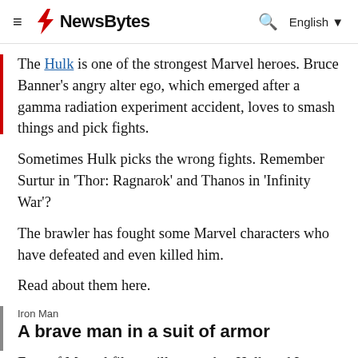NewBytes | English
The Hulk is one of the strongest Marvel heroes. Bruce Banner's angry alter ego, which emerged after a gamma radiation experiment accident, loves to smash things and pick fights.
Sometimes Hulk picks the wrong fights. Remember Surtur in 'Thor: Ragnarok' and Thanos in 'Infinity War'?
The brawler has fought some Marvel characters who have defeated and even killed him.
Read about them here.
Iron Man
A brave man in a suit of armor
Fans of Marvel films will remember Hulk and Iron Man's iconic fight in 'Age of Ultron' where Tony Stark used the Hulkbuster suit.